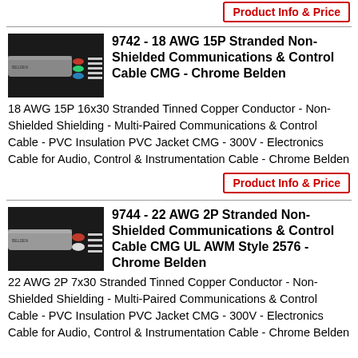[Figure (other): Product Info & Price button at top (partial, cropped)]
[Figure (photo): Cable product image - 18 AWG 15P stranded cable showing colored wire pairs on dark background]
9742 - 18 AWG 15P Stranded Non-Shielded Communications & Control Cable CMG - Chrome Belden
18 AWG 15P 16x30 Stranded Tinned Copper Conductor - Non-Shielded Shielding - Multi-Paired Communications & Control Cable - PVC Insulation PVC Jacket CMG - 300V - Electronics Cable for Audio, Control & Instrumentation Cable - Chrome Belden
[Figure (other): Product Info & Price button]
[Figure (photo): Cable product image - 22 AWG 2P stranded cable showing red wire pairs on dark background]
9744 - 22 AWG 2P Stranded Non-Shielded Communications & Control Cable CMG UL AWM Style 2576 - Chrome Belden
22 AWG 2P 7x30 Stranded Tinned Copper Conductor - Non-Shielded Shielding - Multi-Paired Communications & Control Cable - PVC Insulation PVC Jacket CMG - 300V - Electronics Cable for Audio, Control & Instrumentation Cable - Chrome Belden